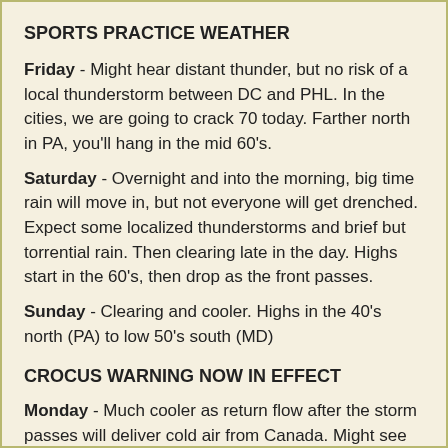SPORTS PRACTICE WEATHER
Friday - Might hear distant thunder, but no risk of a local thunderstorm between DC and PHL. In the cities, we are going to crack 70 today. Farther north in PA, you'll hang in the mid 60's.
Saturday - Overnight and into the morning, big time rain will move in, but not everyone will get drenched. Expect some localized thunderstorms and brief but torrential rain. Then clearing late in the day. Highs start in the 60's, then drop as the front passes.
Sunday - Clearing and cooler. Highs in the 40's north (PA) to low 50's south (MD)
CROCUS WARNING NOW IN EFFECT
Monday - Much cooler as return flow after the storm passes will deliver cold air from Canada. Might see some flurries later in the day as a clipper slowly moves east. Snow will redevelop overnight for a few hours, providing a gentle